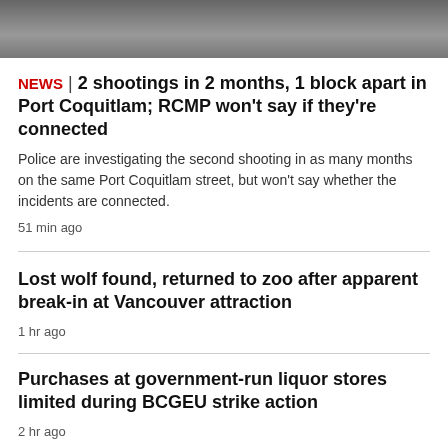[Figure (photo): Partial photo at top of page, dark background, appears to show a surface or clothing detail]
NEWS | 2 shootings in 2 months, 1 block apart in Port Coquitlam; RCMP won't say if they're connected
Police are investigating the second shooting in as many months on the same Port Coquitlam street, but won't say whether the incidents are connected.
51 min ago
Lost wolf found, returned to zoo after apparent break-in at Vancouver attraction
1 hr ago
Purchases at government-run liquor stores limited during BCGEU strike action
2 hr ago